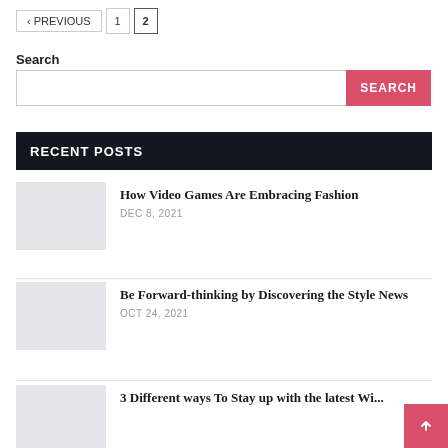< PREVIOUS  1  2
Search
SEARCH (button)
RECENT POSTS
How Video Games Are Embracing Fashion
DEC 8, 2021
Be Forward-thinking by Discovering the Style News
OCT 24, 2021
3 Different ways To Stay up with the latest Wi... Style